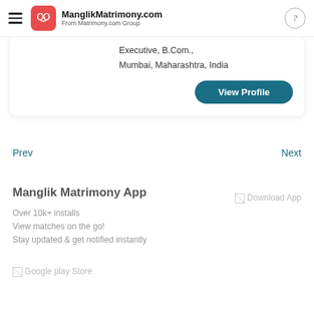ManglikMatrimony.com From Matrimony.com Group
Executive, B.Com., Mumbai, Maharashtra, India
View Profile
Prev
Next
Manglik Matrimony App
Over 10k+ installs
View matches on the go!
Stay updated & get notified instantly
[Figure (screenshot): Download App placeholder image]
[Figure (screenshot): Google play Store placeholder image]